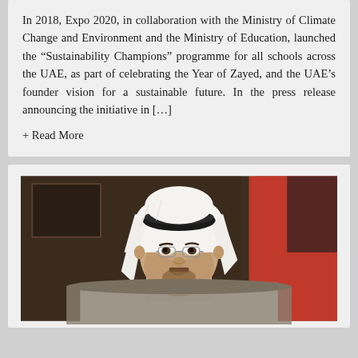In 2018, Expo 2020, in collaboration with the Ministry of Climate Change and Environment and the Ministry of Education, launched the “Sustainability Champions” programme for all schools across the UAE, as part of celebrating the Year of Zayed, and the UAE’s founder vision for a sustainable future. In the press release announcing the initiative in […]
+ Read More
[Figure (photo): Portrait photo of a man in traditional UAE white thobe and black ghutra headcover, wearing glasses, seated in a professional setting with a dark background and a red element visible on the right side.]